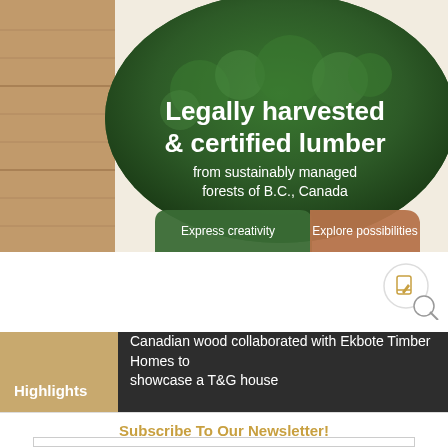[Figure (photo): Hero banner showing stacked lumber on the left and an aerial forest view inside an oval shape. Bold white text overlaid reads 'Legally harvested & certified lumber from sustainably managed forests of B.C., Canada'. Two buttons at bottom: green 'Express creativity' and brown 'Explore possibilities'.]
[Figure (other): Circular icon with a pencil/edit symbol inside, with a magnifying glass overlay at bottom right.]
Highlights  Canadian wood collaborated with Ekbote Timber Homes to showcase a T&G house
Subscribe To Our Newsletter!